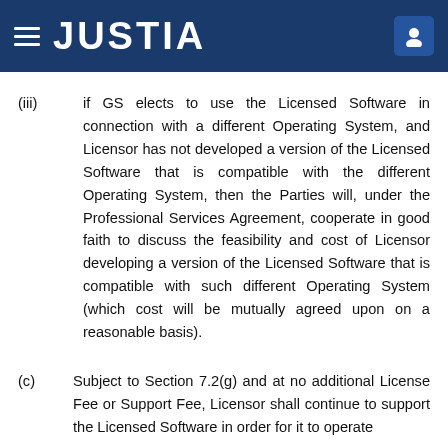JUSTIA
(iii) if GS elects to use the Licensed Software in connection with a different Operating System, and Licensor has not developed a version of the Licensed Software that is compatible with the different Operating System, then the Parties will, under the Professional Services Agreement, cooperate in good faith to discuss the feasibility and cost of Licensor developing a version of the Licensed Software that is compatible with such different Operating System (which cost will be mutually agreed upon on a reasonable basis).
(c) Subject to Section 7.2(g) and at no additional License Fee or Support Fee, Licensor shall continue to support the Licensed Software in order for it to operate